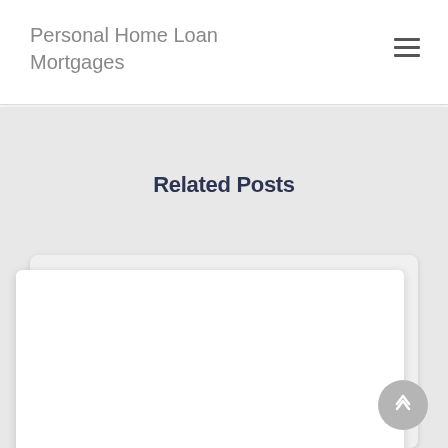Personal Home Loan Mortgages
Related Posts
[Figure (other): A white card/post preview box partially visible at the bottom of the page within a light grey section background]